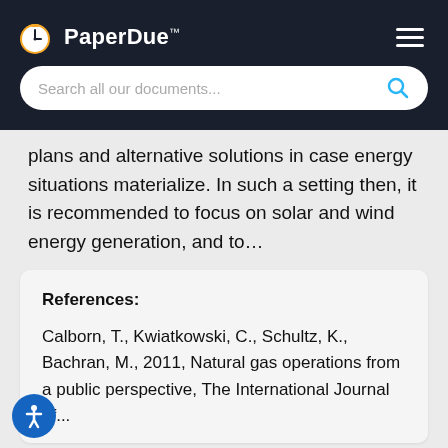PaperDue™
plans and alternative solutions in case energy situations materialize. In such a setting then, it is recommended to focus on solar and wind energy generation, and to…
References:
Calborn, T., Kwiatkowski, C., Schultz, K., Bachran, M., 2011, Natural gas operations from a public perspective, The International Journal of ...